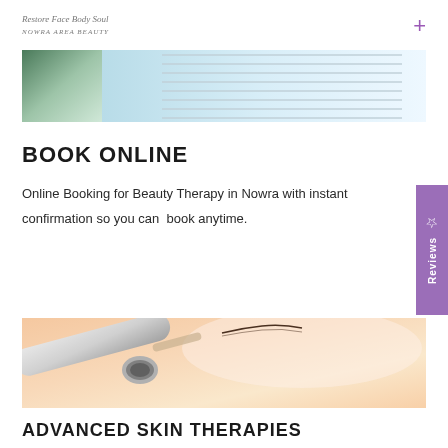Restore Face Body Soul
NOWRA AREA BEAUTY
[Figure (photo): Top banner showing flowers and a notebook/planner on a light blue surface]
BOOK ONLINE
Online Booking for Beauty Therapy in Nowra with instant confirmation so you can book anytime.
[Figure (photo): Close-up of a microdermabrasion device being used on skin facial treatment]
ADVANCED SKIN THERAPIES